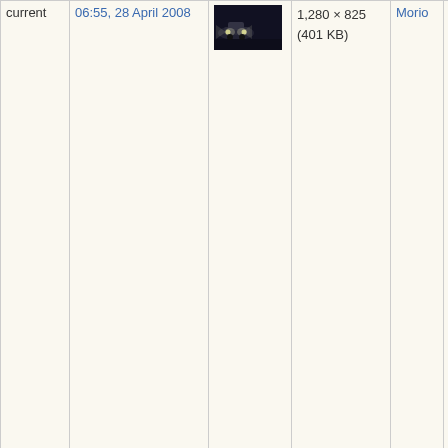| (current) | Date | Thumbnail | Dimensions | User | Comment |
| --- | --- | --- | --- | --- | --- |
| current | 06:55, 28 April 2008 | [thumbnail image of car with headlights] | 1,280 × 825 (401 KB) | Morio | == Information == {{Information |Description = '''Le Mans Series''' 2007 Rd.6 Mil Milhas Brasil: Safety car |Source = photo taken by Morio |Date = 10 November 2007, ''Autódromo José Carlos... |